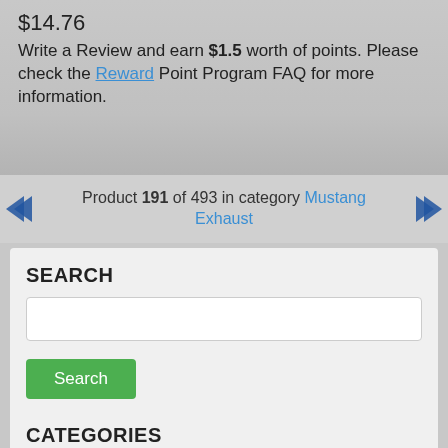$14.76
Write a Review and earn $1.5 worth of points. Please check the Reward Point Program FAQ for more information.
Product 191 of 493 in category Mustang Exhaust
SEARCH
Use keywords to find the product you are looking for. Advanced Search
CATEGORIES